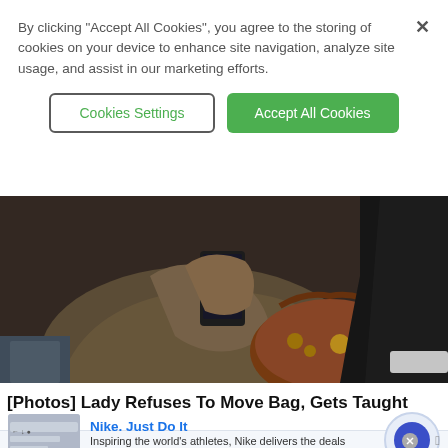By clicking "Accept All Cookies", you agree to the storing of cookies on your device to enhance site navigation, analyze site usage, and assist in our marketing efforts.
Cookies Settings
Accept All Cookies
[Figure (photo): Two people sitting on what appears to be public transit. The person on the left is wearing an olive/brown coat and holding a phone, with a brown leather handbag on their lap. The person on the right is wearing a dark jacket.]
[Photos] Lady Refuses To Move Bag, Gets Taught Lesson
Food Sided
Nike. Just Do It
Inspiring the world's athletes, Nike delivers the deals
www.nike.com